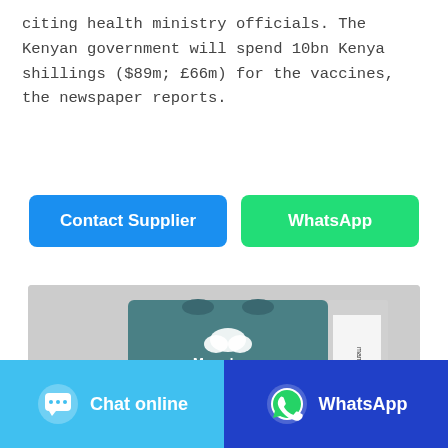citing health ministry officials. The Kenyan government will spend 10bn Kenya shillings ($89m; £66m) for the vaccines, the newspaper reports.
[Figure (other): Two buttons: blue 'Contact Supplier' button and green 'WhatsApp' button]
[Figure (photo): Photo of Mamaloves Baby Diapers product box, teal/grey packaging, size 1 (2-5kg), with a baby on the front]
[Figure (other): Footer bar with two buttons: light blue 'Chat online' with chat bubble icon, and dark blue 'WhatsApp' with WhatsApp icon]